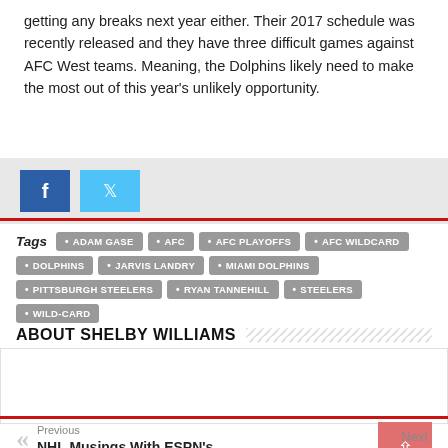getting any breaks next year either. Their 2017 schedule was recently released and they have three difficult games against AFC West teams. Meaning, the Dolphins likely need to make the most out of this year's unlikely opportunity.
Tags: ADAM GASE • AFC • AFC PLAYOFFS • AFC WILDCARD • DOLPHINS • JARVIS LANDRY • MIAMI DOLPHINS • PITTSBURGH STEELERS • RYAN TANNEHILL • STEELERS • WILD-CARD
ABOUT SHELBY WILLIAMS
Previous
NHL Musings With ESPN's Barry Melrose
Next